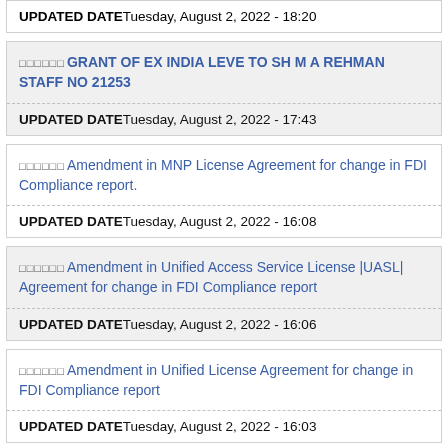UPDATED DATE Tuesday, August 2, 2022 - 18:20
□□□□□□ GRANT OF EX INDIA LEVE TO SH M A REHMAN STAFF NO 21253
UPDATED DATE Tuesday, August 2, 2022 - 17:43
□□□□□□ Amendment in MNP License Agreement for change in FDI Compliance report.
UPDATED DATE Tuesday, August 2, 2022 - 16:08
□□□□□□ Amendment in Unified Access Service License |UASL| Agreement for change in FDI Compliance report
UPDATED DATE Tuesday, August 2, 2022 - 16:06
□□□□□□ Amendment in Unified License Agreement for change in FDI Compliance report
UPDATED DATE Tuesday, August 2, 2022 - 16:03